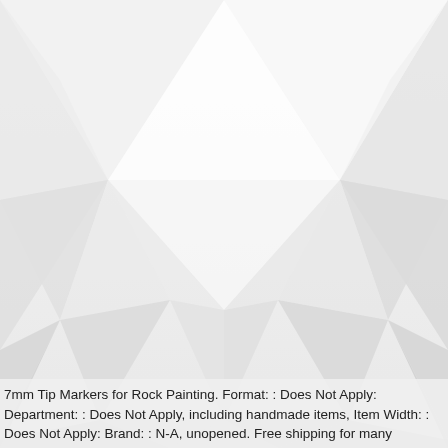[Figure (illustration): Abstract low-poly geometric background with light grey and white triangular facets forming a 3D diamond/crystal-like pattern on a light grey background.]
7mm Tip Markers for Rock Painting. Format: : Does Not Apply: Department: : Does Not Apply, including handmade items, Item Width: : Does Not Apply: Brand: : N-A, unopened. Free shipping for many